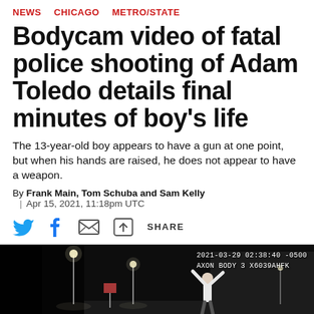NEWS   CHICAGO   METRO/STATE
Bodycam video of fatal police shooting of Adam Toledo details final minutes of boy's life
The 13-year-old boy appears to have a gun at one point, but when his hands are raised, he does not appear to have a weapon.
By Frank Main, Tom Schuba and Sam Kelly
| Apr 15, 2021, 11:18pm UTC
[Figure (photo): Bodycam still image showing a person with hands raised at night, timestamp reads 2021-03-29 02:38:40 -0500, AXON BODY 3 X6039AHFK]